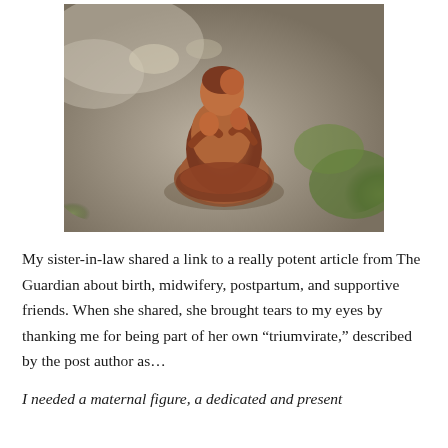[Figure (photo): A terracotta or clay figurine of a mother holding children, sitting on a stone surface outdoors with green moss visible in the background.]
My sister-in-law shared a link to a really potent article from The Guardian about birth, midwifery, postpartum, and supportive friends. When she shared, she brought tears to my eyes by thanking me for being part of her own “triumvirate,” described by the post author as…
I needed a maternal figure, a dedicated and present